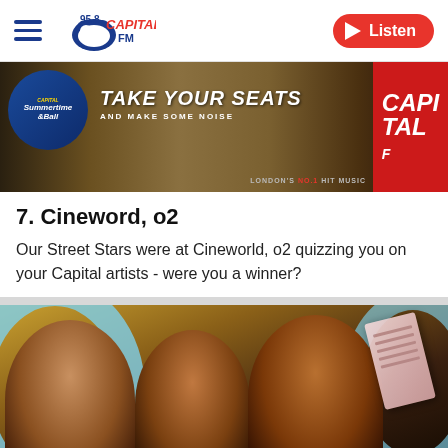[Figure (logo): 95.8 Capital FM logo with hamburger menu and Listen button]
[Figure (photo): Photo of person holding Capital FM Summertime Ball sign reading TAKE YOUR SEATS AND MAKE SOME NOISE, with Capital FM and LONDON'S NO.1 HIT MUSIC text visible]
7. Cineword, o2
Our Street Stars were at Cineworld, o2 quizzing you on your Capital artists - were you a winner?
[Figure (photo): Photo of three young men posing with o2 branded circle, one holding what appears to be a ticket or voucher]